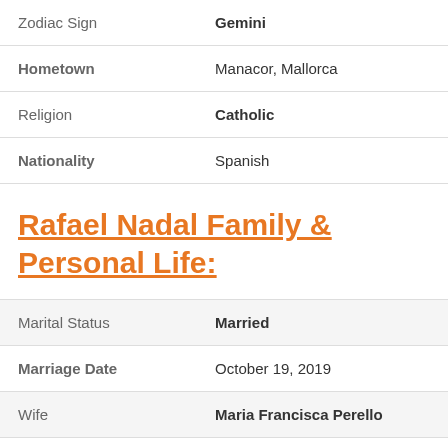| Zodiac Sign | Gemini |
| Hometown | Manacor, Mallorca |
| Religion | Catholic |
| Nationality | Spanish |
Rafael Nadal Family & Personal Life:
| Marital Status | Married |
| Marriage Date | October 19, 2019 |
| Wife | Maria Francisca Perello |